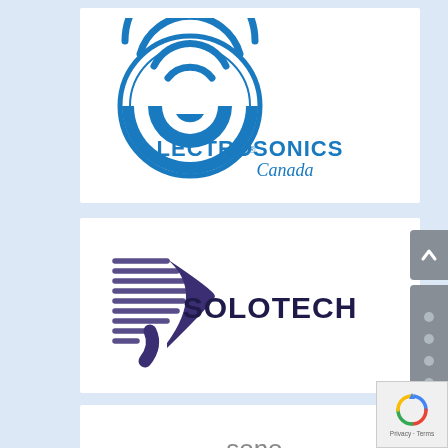[Figure (logo): Lectrosonics Canada logo — blue circular wave graphic above stylized text 'LECTROSONICS' in blue with registered mark, 'Canada' in blue italic script below]
[Figure (logo): Solotech logo — purple stylized D shape with horizontal stripe motif on left, dark navy text 'SOLOTECH' on right]
[Figure (logo): sono. technique logo — yellow-green angle bracket arrow icon on left, gray text 'sono.' and 'TECHNIQUE' on right]
[Figure (logo): AVShop.ca logo — blue and orange stylized 'AV' letters followed by 'Shop.ca' text, partially cropped at bottom]
[Figure (screenshot): Gray sidebar scrollbar UI with dots, and up-arrow button]
[Figure (other): Google reCAPTCHA badge in bottom-right corner showing recycling arrow icon and 'Privacy · Terms' text]